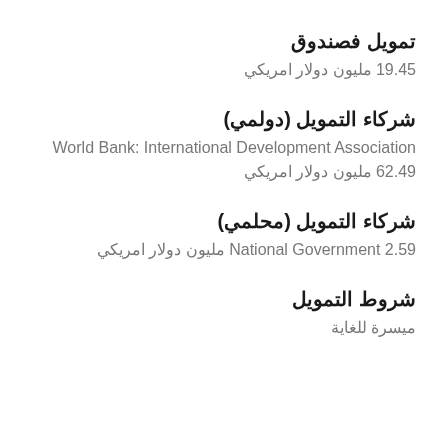تمويل فصندوق
19.45 مليون دولار امريكي
شركاء التمويل (دولمي)
World Bank: International Development Association 62.49 مليون دولار امريكي
شركاء التمويل (محلمي)
National Government 2.59 مليون دولار امريكي
شروط التمويل
ميسرة للغاية